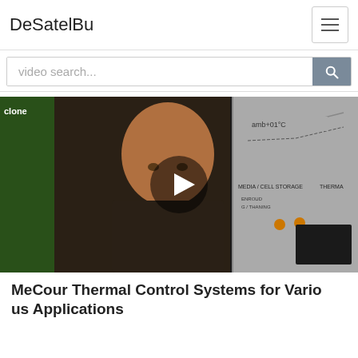DeSatelBu
video search...
[Figure (screenshot): Video thumbnail showing a man in a dark polo shirt standing in front of a display board with text about thermal control systems. A circular play button overlay is visible in the center. Text visible includes 'clone', 'MEDIA / CELL STORAGE', 'THERMAL', and a temperature reference 'amb+01°C'.]
MeCour Thermal Control Systems for Various Applications